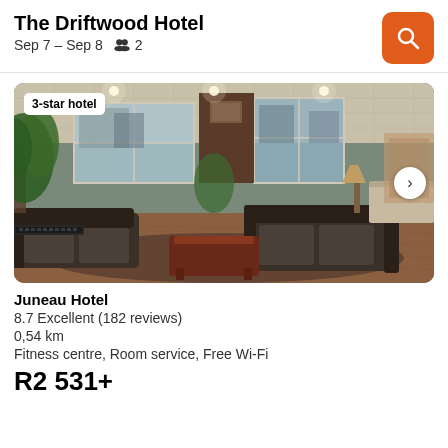The Driftwood Hotel
Sep 7 – Sep 8   👥 2
[Figure (photo): Hotel lobby interior with leather sofas, wooden coffee table, ornate ceiling tiles, and large windows. Badge reads '3-star hotel'.]
Juneau Hotel
8.7 Excellent (182 reviews)
0,54 km
Fitness centre, Room service, Free Wi-Fi
R2 531+